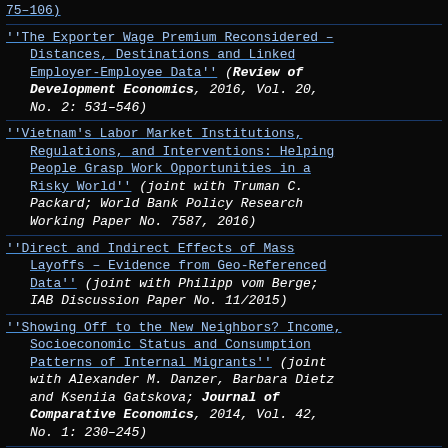75–106)
''The Exporter Wage Premium Reconsidered – Distances, Destinations and Linked Employer-Employee Data'' (Review of Development Economics, 2016, Vol. 20, No. 2: 531–546)
''Vietnam's Labor Market Institutions, Regulations, and Interventions: Helping People Grasp Work Opportunities in a Risky World'' (joint with Truman C. Packard; World Bank Policy Research Working Paper No. 7587, 2016)
''Direct and Indirect Effects of Mass Layoffs – Evidence from Geo-Referenced Data'' (joint with Philipp vom Berge; IAB Discussion Paper No. 11/2015)
''Showing Off to the New Neighbors? Income, Socioeconomic Status and Consumption Patterns of Internal Migrants'' (joint with Alexander M. Danzer, Barbara Dietz and Kseniia Gatskova; Journal of Comparative Economics, 2014, Vol. 42, No. 1: 230–245)